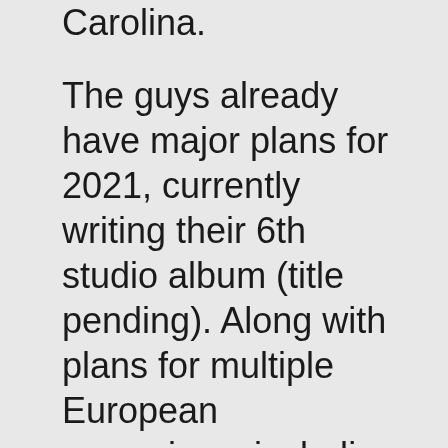Carolina. The guys already have major plans for 2021, currently writing their 6th studio album (title pending). Along with plans for multiple European excursions, including festival performances at Bospop in the Netherlands, a full UK tour, and Australian and Japanese tours in the works, the band is also working tirelessly